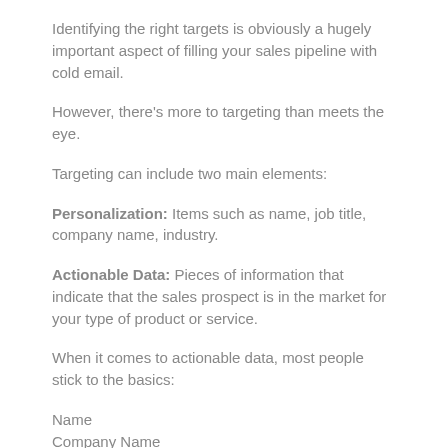Identifying the right targets is obviously a hugely important aspect of filling your sales pipeline with cold email.
However, there's more to targeting than meets the eye.
Targeting can include two main elements:
Personalization: Items such as name, job title, company name, industry.
Actionable Data: Pieces of information that indicate that the sales prospect is in the market for your type of product or service.
When it comes to actionable data, most people stick to the basics:
Name
Company Name
Industry
Company Size